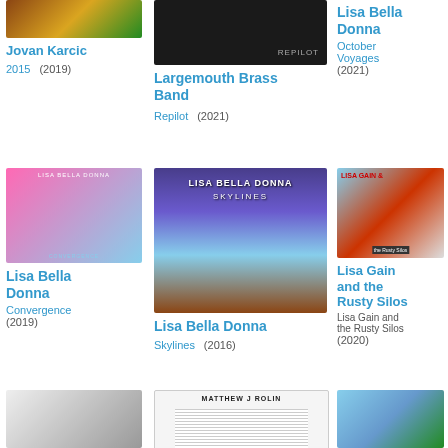[Figure (photo): Album art for Jovan Karcic - 2015, autumn/nature colors]
Jovan Karcic
2015  (2019)
[Figure (photo): Album art for Largemouth Brass Band - Repilot, dark background with text REPILOT]
Largemouth Brass Band
Repilot  (2021)
Lisa Bella Donna
October Voyages
(2021)
[Figure (photo): Album art for Lisa Bella Donna - Convergence, woman in pink]
Lisa Bella Donna
Convergence
(2019)
[Figure (photo): Album art for Lisa Bella Donna - Skylines, purple sky with trees]
Lisa Bella Donna
Skylines  (2016)
[Figure (photo): Album art for Lisa Gain and the Rusty Silos, red car]
Lisa Gain and the Rusty Silos
Lisa Gain and the Rusty Silos
(2020)
[Figure (photo): Album art bottom left, person with sunglasses]
[Figure (photo): Album art Matthew J Rolin, illustrated portrait]
[Figure (photo): Album art bottom right, house with blue roof]